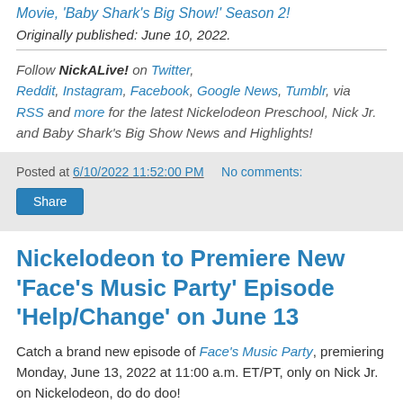Movie, 'Baby Shark's Big Show!' Season 2!
Originally published: June 10, 2022.
Follow NickALive! on Twitter, Reddit, Instagram, Facebook, Google News, Tumblr, via RSS and more for the latest Nickelodeon Preschool, Nick Jr. and Baby Shark's Big Show News and Highlights!
Posted at 6/10/2022 11:52:00 PM   No comments:
Nickelodeon to Premiere New 'Face's Music Party' Episode 'Help/Change' on June 13
Catch a brand new episode of Face's Music Party, premiering Monday, June 13, 2022 at 11:00 a.m. ET/PT, only on Nick Jr. on Nickelodeon, do do doo!